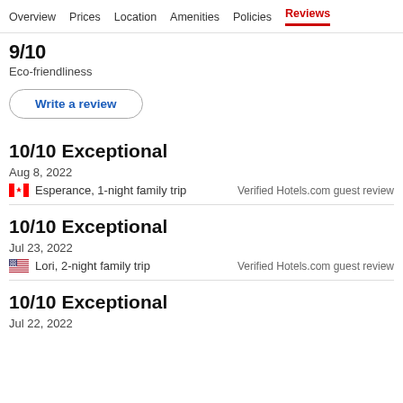Overview  Prices  Location  Amenities  Policies  Reviews
9/10 (partially visible)
Eco-friendliness
Write a review
10/10 Exceptional
Aug 8, 2022
🇨🇦 Esperance, 1-night family trip
Verified Hotels.com guest review
10/10 Exceptional
Jul 23, 2022
🇺🇸 Lori, 2-night family trip
Verified Hotels.com guest review
10/10 Exceptional
Jul 22, 2022